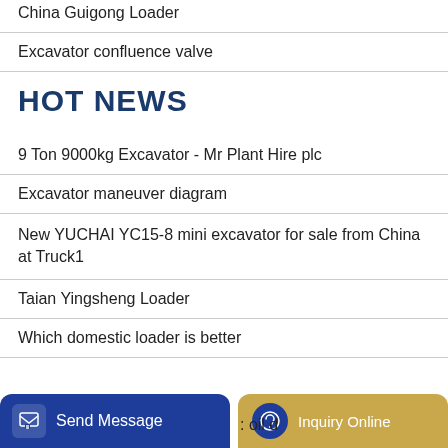China Guigong Loader
Excavator confluence valve
HOT NEWS
9 Ton 9000kg Excavator - Mr Plant Hire plc
Excavator maneuver diagram
New YUCHAI YC15-8 mini excavator for sale from China at Truck1
Taian Yingsheng Loader
Which domestic loader is better
Send Message | Inquiry Online